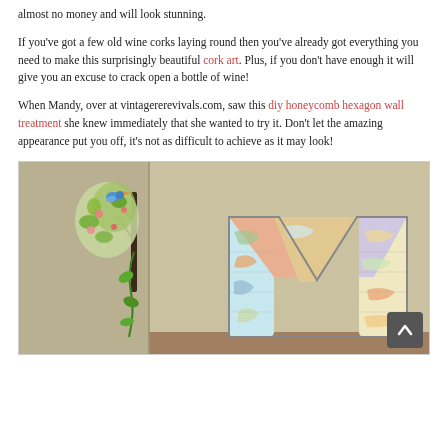almost no money and will look stunning.
If you've got a few old wine corks laying round then you've already got everything you need to make this surprisingly beautiful cork art. Plus, if you don't have enough it will give you an excuse to crack open a bottle of wine!
When Mandy, over at vintagererevivals.com, saw this diy honeycomb hexagon wall treatment she knew immediately that she wanted to try it. Don't let the amazing appearance put you off, it's not as difficult to achieve as it may look!
[Figure (photo): Room wall with a decorative map-covered letter M mounted on a beige/tan wall, and a tree with bird wall decal on the left side.]